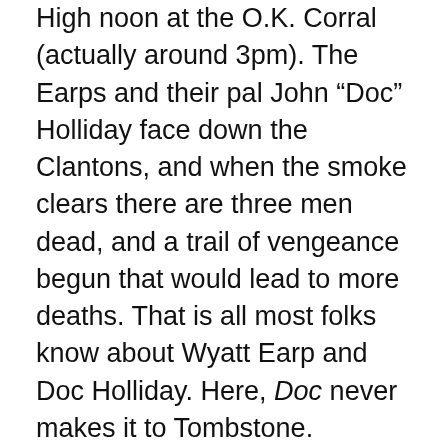High noon at the O.K. Corral (actually around 3pm). The Earps and their pal John “Doc” Holliday face down the Clantons, and when the smoke clears there are three men dead, and a trail of vengeance begun that would lead to more deaths. That is all most folks know about Wyatt Earp and Doc Holliday. Here, Doc never makes it to Tombstone.
Instead, Mary Doria Russell has written a superb story about the Earps and Holliday that explores their lives in Dodge City, Kansas in the years before they made it out to Arizona. John Holliday has left his native Georgia to make his way West, in hopes of easing the effects of the tuberculosis that would kill him in less than a decade. Seeking to set up a practice as a dentist, he supplements his meager earnings through his skills at the faro and poker tables. In the course of his time in Dodge, he meets and becomes uneasy friends with sometime lawman